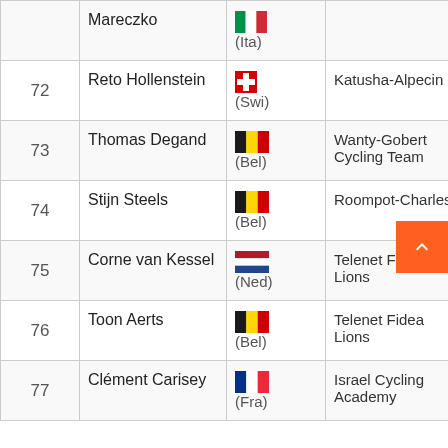| # | Name | Nationality | Team | Time |
| --- | --- | --- | --- | --- |
|  | Mareczko | (Ita) |  |  |
| 72 | Reto Hollenstein | (Swi) | Katusha-Alpecin |  |
| 73 | Thomas Degand | (Bel) | Wanty-Gobert Cycling Team | 0:03:55 |
| 74 | Stijn Steels | (Bel) | Roompot-Charles | 0:04:00 |
| 75 | Corne van Kessel | (Ned) | Telenet Fidea Lions |  |
| 76 | Toon Aerts | (Bel) | Telenet Fidea Lions |  |
| 77 | Clément Carisey | (Fra) | Israel Cycling Academy | 0:04:14 |